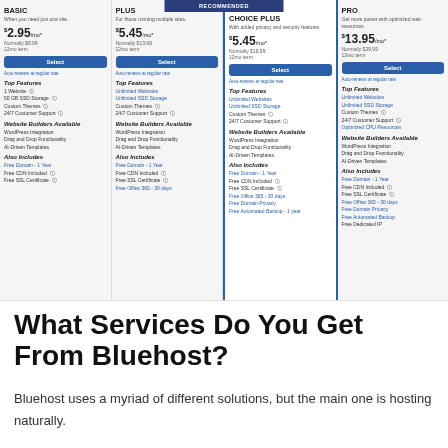[Figure (screenshot): Bluehost pricing comparison table showing 4 plans: BASIC ($2.95/mo), PLUS ($5.45/mo), CHOICE PLUS ($5.45/mo, recommended), PRO ($13.95/mo), each with features, website builder options, and included extras listed.]
What Services Do You Get From Bluehost?
Bluehost uses a myriad of different solutions, but the main one is hosting naturally.